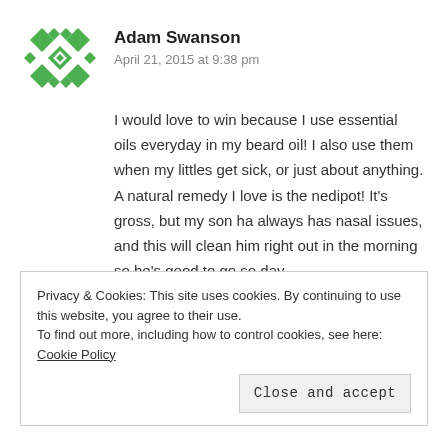Adam Swanson
April 21, 2015 at 9:38 pm
I would love to win because I use essential oils everyday in my beard oil! I also use them when my littles get sick, or just about anything.
A natural remedy I love is the nedipot! It's gross, but my son ha always has nasal issues, and this will clean him right out in the morning so he's good to go so day.
I follow you via email!
Thanks for the opportunity 👍
Adam furrdogg Swanson
Privacy & Cookies: This site uses cookies. By continuing to use this website, you agree to their use.
To find out more, including how to control cookies, see here: Cookie Policy
Close and accept